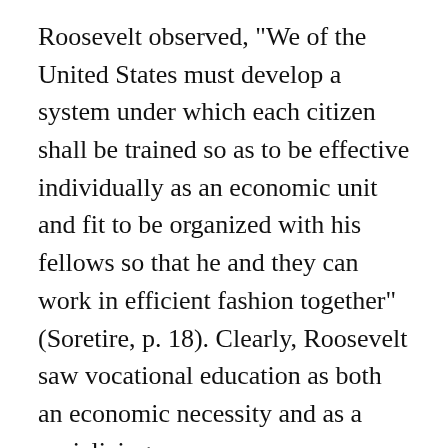Roosevelt observed, "We of the United States must develop a system under which each citizen shall be trained so as to be effective individually as an economic unit and fit to be organized with his fellows so that he and they can work in efficient fashion together" (Soretire, p. 18). Clearly, Roosevelt saw vocational education as both an economic necessity and as a socializing process.
Smith-Hughes Act of 1917. The culmination of the actions by these different organizations and state agencies was the passage of the Smith-Hughes Act of